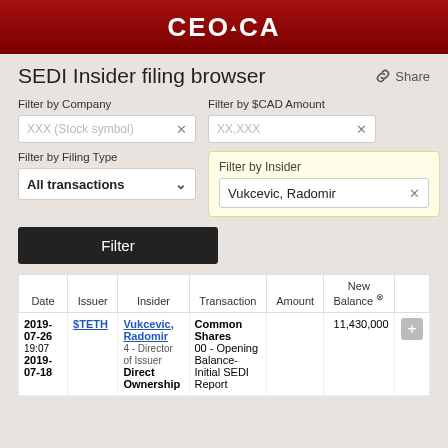CEO.CA
SEDI Insider filing browser
Share
Filter by Company
XXX (Stock symbol)
Filter by $CAD Amount
XX,XXX
Filter by Filing Type
All transactions
Filter by Insider
Vukcevic, Radomir
Filter
| Date | Issuer | Insider | Transaction | Amount | New Balance |  |
| --- | --- | --- | --- | --- | --- | --- |
| 2019-07-26
19:07
2019-07-18 | $TETH | Vukcevic, Radomir
4 - Director of Issuer
Direct Ownership | Common Shares
00 - Opening Balance- Initial SEDI Report |  | 11,430,000 | + |